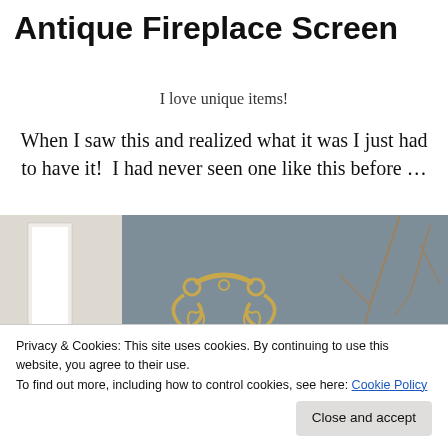Antique Fireplace Screen
I love unique items!
When I saw this and realized what it was I just had to have it!  I had never seen one like this before …
[Figure (photo): Photo of an antique brass fireplace screen ornament against a grey-blue background with dried branches visible on the right side]
Privacy & Cookies: This site uses cookies. By continuing to use this website, you agree to their use.
To find out more, including how to control cookies, see here: Cookie Policy
Close and accept